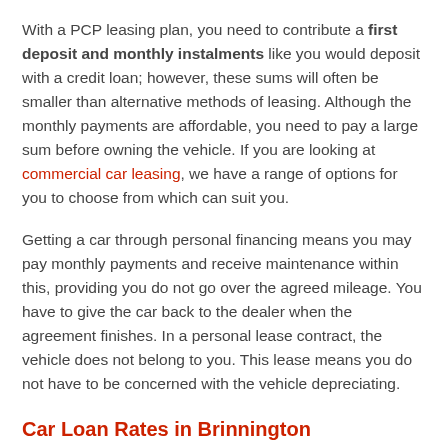With a PCP leasing plan, you need to contribute a first deposit and monthly instalments like you would deposit with a credit loan; however, these sums will often be smaller than alternative methods of leasing. Although the monthly payments are affordable, you need to pay a large sum before owning the vehicle. If you are looking at commercial car leasing, we have a range of options for you to choose from which can suit you.
Getting a car through personal financing means you may pay monthly payments and receive maintenance within this, providing you do not go over the agreed mileage. You have to give the car back to the dealer when the agreement finishes. In a personal lease contract, the vehicle does not belong to you. This lease means you do not have to be concerned with the vehicle depreciating.
Car Loan Rates in Brinnington
It is essential to think about distinct factors before choosing a vehicle leasing method. Ensuring you can afford the month to month instalments is vital.